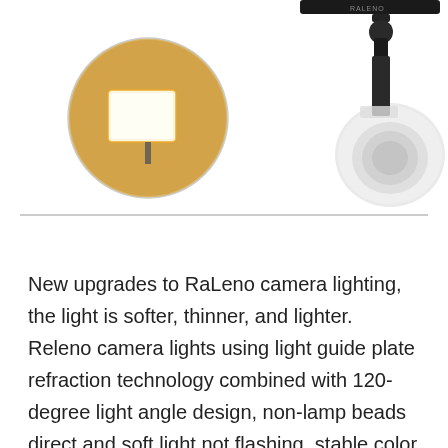[Figure (photo): Product photo showing a RaLeno camera light/LED panel. On the left is a circular inset showing the light panel glowing warm yellow against a wall. On the right is the LED panel mounted on a camera via a hot shoe mount, with the camera body visible below.]
New upgrades to RaLeno camera lighting, the light is softer, thinner, and lighter. Releno camera lights using light guide plate refraction technology combined with 120-degree light angle design, non-lamp beads direct and soft light not flashing, stable color output without shaking. A combination of dual-color temperature and brightness to meet the needs